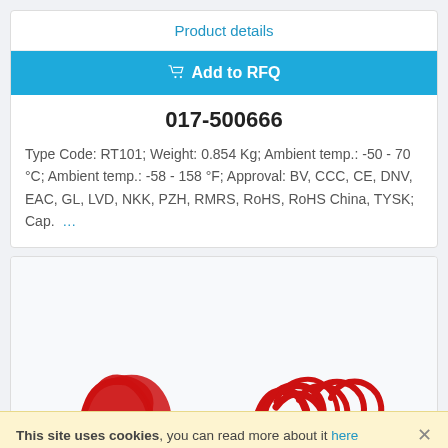Product details
Add to RFQ
017-500666
Type Code: RT101; Weight: 0.854 Kg; Ambient temp.: -50 - 70 °C; Ambient temp.: -58 - 158 °F; Approval: BV, CCC, CE, DNV, EAC, GL, LVD, NKK, PZH, RMRS, RoHS, RoHS China, TYSK; Cap.  …
[Figure (logo): Partial red brand logo visible at bottom of product image card]
This site uses cookies, you can read more about it here